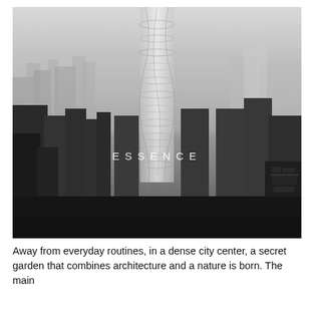[Figure (illustration): Black and white aerial photograph of a dense city skyline with a futuristic twisting glass skyscraper in the center labeled 'ESSENCE' in spaced white letters overlaid on the image.]
Away from everyday routines, in a dense city center, a secret garden that combines architecture and a nature is born. The main goal of this project is to position an architecture that has a sense of energy and that relates to a nature.